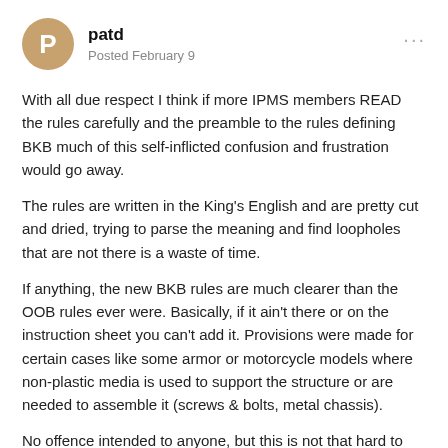patd — Posted February 9
With all due respect I think if more IPMS members READ the rules carefully and the preamble to the rules defining BKB much of this self-inflicted confusion and frustration would go away.
The rules are written in the King's English and are pretty cut and dried, trying to parse the meaning and find loopholes that are not there is a waste of time.
If anything, the new BKB rules are much clearer than the OOB rules ever were. Basically, if it ain't there or on the instruction sheet you can't add it. Provisions were made for certain cases like some armor or motorcycle models where non-plastic media is used to support the structure or are needed to assemble it (screws & bolts, metal chassis).
No offence intended to anyone, but this is not that hard to build and compete within these rules if one desires to do so.
Pat D